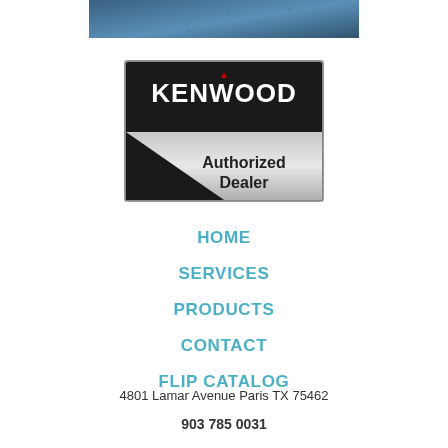[Figure (photo): Top portion of a blue textured banner image, cropped at top of page]
[Figure (logo): Kenwood Authorized Dealer badge: black upper half with KENWOOD logo and red triangle accent, silver lower half with 'Authorized Dealer' text]
HOME
SERVICES
PRODUCTS
CONTACT
FLIP CATALOG
4801 Lamar Avenue Paris TX 75462
903 785 0031